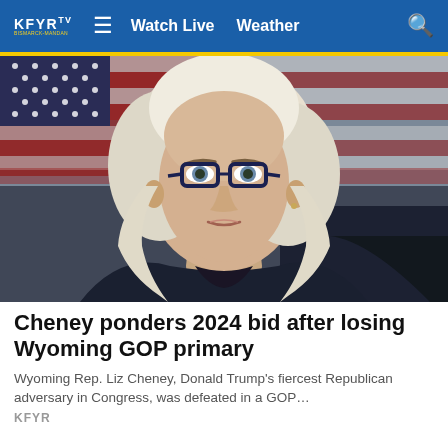KFYR  ≡  Watch Live  Weather  🔍
[Figure (photo): Close-up photo of a woman with white/blonde hair and dark-framed glasses, seated in front of an American flag, appearing to speak or testify. The setting appears to be an official government hearing room.]
Cheney ponders 2024 bid after losing Wyoming GOP primary
Wyoming Rep. Liz Cheney, Donald Trump's fiercest Republican adversary in Congress, was defeated in a GOP…
KFYR